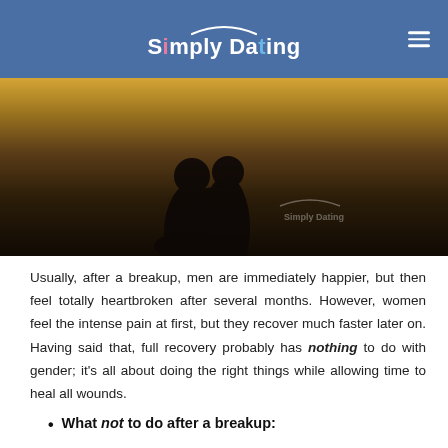Simply Dating
[Figure (photo): Silhouette of a couple embracing, with warm yellow/orange background. Simply Dating watermark visible in lower right.]
Usually, after a breakup, men are immediately happier, but then feel totally heartbroken after several months. However, women feel the intense pain at first, but they recover much faster later on. Having said that, full recovery probably has nothing to do with gender; it’s all about doing the right things while allowing time to heal all wounds.
What not to do after a breakup: